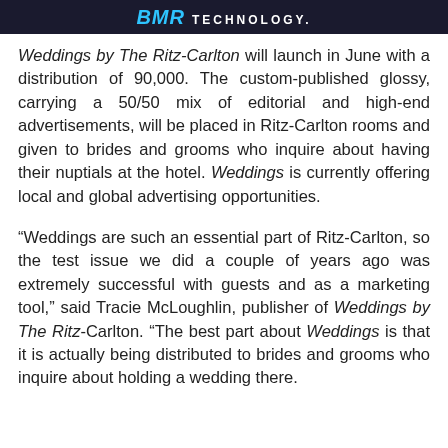BMR TECHNOLOGY.
Weddings by The Ritz-Carlton will launch in June with a distribution of 90,000. The custom-published glossy, carrying a 50/50 mix of editorial and high-end advertisements, will be placed in Ritz-Carlton rooms and given to brides and grooms who inquire about having their nuptials at the hotel. Weddings is currently offering local and global advertising opportunities.
“Weddings are such an essential part of Ritz-Carlton, so the test issue we did a couple of years ago was extremely successful with guests and as a marketing tool,” said Tracie McLoughlin, publisher of Weddings by The Ritz-Carlton. “The best part about Weddings is that it is actually being distributed to brides and grooms who inquire about holding a wedding there.